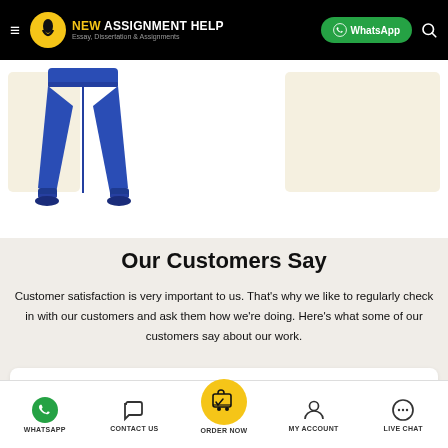NEW ASSIGNMENT HELP — Essay, Dissertation & Assignments | WhatsApp
[Figure (illustration): Blue sweatpants/jogger pants illustration on a light cream background]
Our Customers Say
Customer satisfaction is very important to us. That's why we like to regularly check in with our customers and ask them how we're doing. Here's what some of our customers say about our work.
[Figure (other): Four gold star rating icons]
WHATSAPP | CONTACT US | ORDER NOW | MY ACCOUNT | LIVE CHAT